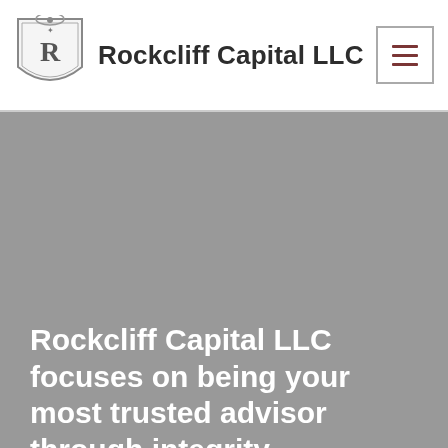Rockcliff Capital LLC
Rockcliff Capital LLC focuses on being your most trusted advisor through integrity, commitment, and innovative ideas.